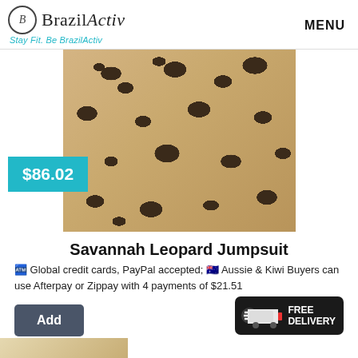BrazilActiv — Stay Fit. Be BrazilActiv | MENU
[Figure (photo): Product photo of a woman wearing a leopard print jumpsuit, close-up torso/hip shot outdoors]
$86.02
Savannah Leopard Jumpsuit
Global credit cards, PayPal accepted; Aussie & Kiwi Buyers can use Afterpay or Zippay with 4 payments of $21.51
Add
[Figure (illustration): Free Delivery badge with truck icon on dark background]
[Figure (photo): Bottom partial product photo showing a woman in activewear outdoors]